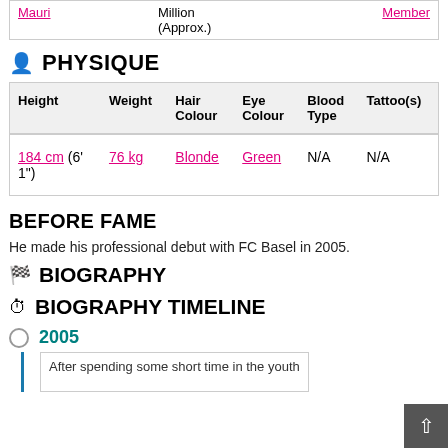|  |  | Million (Approx.) |  |
| --- | --- | --- | --- |
| Mauri |  | Million
(Approx.) | Member |
PHYSIQUE
| Height | Weight | Hair Colour | Eye Colour | Blood Type | Tattoo(s) |
| --- | --- | --- | --- | --- | --- |
| 184 cm (6' 1") | 76 kg | Blonde | Green | N/A | N/A |
BEFORE FAME
He made his professional debut with FC Basel in 2005.
BIOGRAPHY
BIOGRAPHY TIMELINE
2005
After spending some short time in the youth